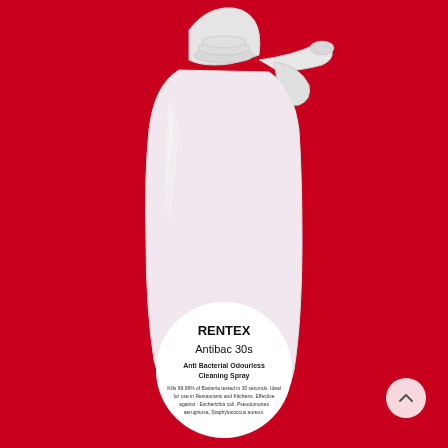[Figure (photo): A white plastic trigger spray bottle labeled 'RENTEX Antibac 30s Anti Bacterial Odourless Cleaning Spray' against a bright red background. The bottle has a white trigger pump sprayer on top. The label text states it kills 99.99% of bacteria tested in 30 seconds, ideal for use in Restaurants and Kitchens. Effective against: Escherichia coli, Pseudomonas aeruginosa, Staphylococcus aureus. A circular scroll-to-top button is visible in the lower right corner.]